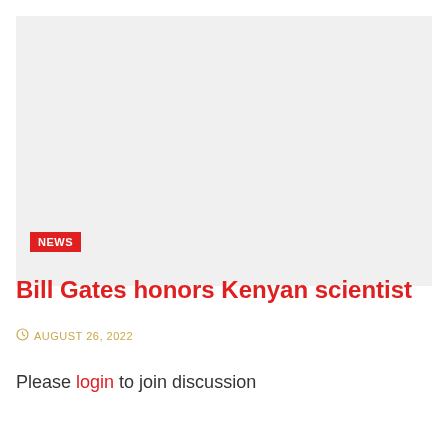[Figure (photo): Large image placeholder with light gray background]
NEWS
Bill Gates honors Kenyan scientist
AUGUST 26, 2022
Please login to join discussion